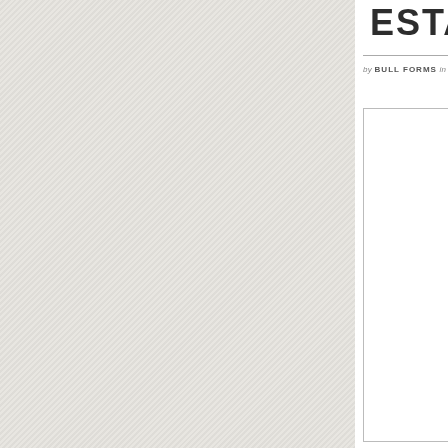[Figure (photo): Textured off-white/light gray paper or fabric background covering the left portion of the page, with diagonal woven or crosshatch pattern visible.]
ESTA
by BULL FORMS in RE
[Figure (other): A white rectangular form box with thin border, partially visible in the lower right area of the page.]